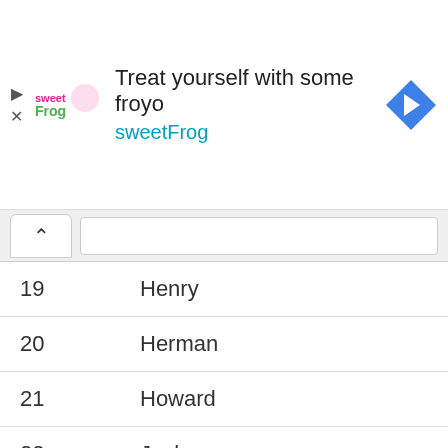[Figure (screenshot): SweetFrog advertisement banner with logo, text 'Treat yourself with some froyo' and 'sweetFrog', and a blue navigation arrow icon]
| # | Name |
| --- | --- |
| 19 | Henry |
| 20 | Herman |
| 21 | Howard |
| 22 | Jack |
| 23 | James |
| 24 | Joel |
| 25 | John |